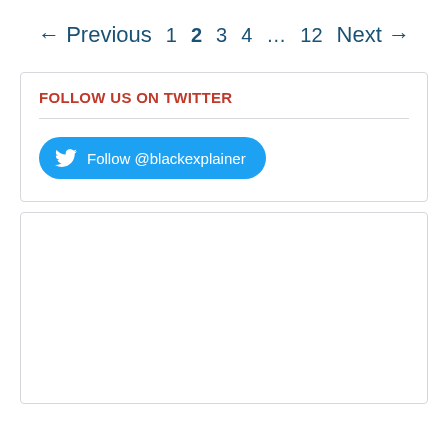← Previous  1  2  3  4  ...  12  Next →
FOLLOW US ON TWITTER
[Figure (other): Twitter follow button with bird icon, labeled 'Follow @blackexplainer']
[Figure (other): Empty white box with light border]